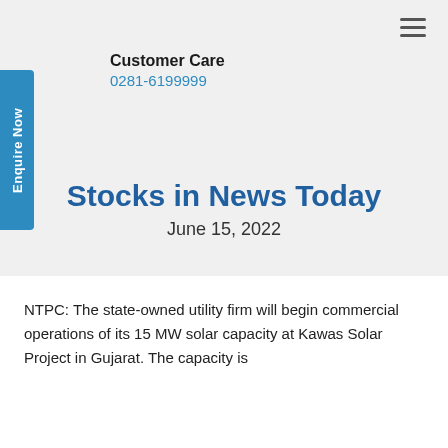Enquire Now
Customer Care
0281-6199999
Stocks in News Today
June 15, 2022
NTPC: The state-owned utility firm will begin commercial operations of its 15 MW solar capacity at Kawas Solar Project in Gujarat. The capacity is